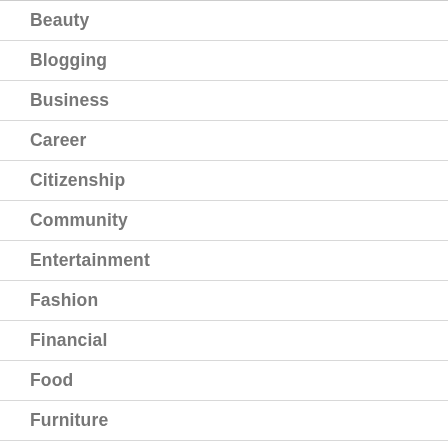Beauty
Blogging
Business
Career
Citizenship
Community
Entertainment
Fashion
Financial
Food
Furniture
Games